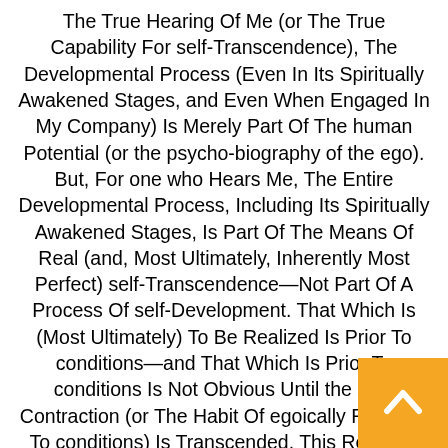The True Hearing Of Me (or The True Capability For self-Transcendence), The Developmental Process (Even In Its Spiritually Awakened Stages, and Even When Engaged In My Company) Is Merely Part Of The human Potential (or the psycho-biography of the ego). But, For one who Hears Me, The Entire Developmental Process, Including Its Spiritually Awakened Stages, Is Part Of The Means Of Real (and, Most Ultimately, Inherently Most Perfect) self-Transcendence—Not Part Of A Process Of self-Development. That Which Is (Most Ultimately) To Be Realized Is Prior To conditions—and That Which Is Prior To conditions Is Not Obvious Until the self-Contraction (or The Habit Of egoically Reacting To conditions) Is Transcended. This Reaction To conditions Takes The Form Of The Illusion Of Separateness and the life Of Separativeness. Separateness Is the Foundation pain, and It Is self-caused.
[Figure (other): Orange square button with white upward-pointing chevron/arrow icon in the bottom-right corner of the page]